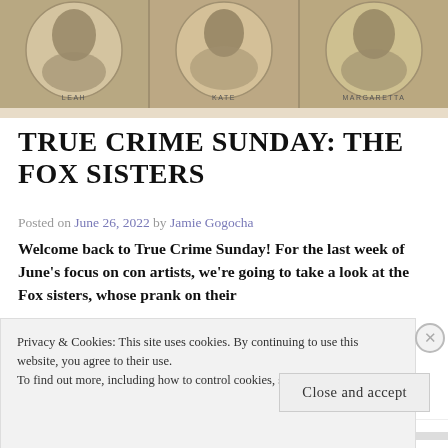[Figure (photo): Sepia-toned historical portrait images of three women labeled LEAH, KATE, and MARGARETTA, shown in oval frames against a light background, arranged side by side.]
TRUE CRIME SUNDAY: THE FOX SISTERS
Posted on June 26, 2022 by Jamie Gogocha
Welcome back to True Crime Sunday! For the last week of June’s focus on con artists, we’re going to take a look at the Fox sisters, whose prank on their
Privacy & Cookies: This site uses cookies. By continuing to use this website, you agree to their use.
To find out more, including how to control cookies, see here: Cookie Policy
Close and accept